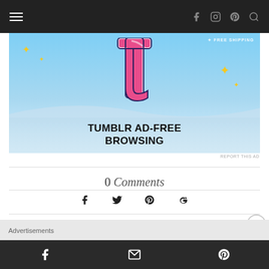Navigation bar with hamburger menu and social icons (Facebook, Instagram, Pinterest, Search)
[Figure (screenshot): Tumblr Ad-Free Browsing advertisement banner with Tumblr logo T on blue sky background with gold sparkle stars and text TUMBLR AD-FREE BROWSING]
REPORT THIS AD
0 Comments
Social share buttons: Facebook, Twitter, Pinterest, Google+
Advertisements
Footer bar with Facebook, email, and Pinterest icons